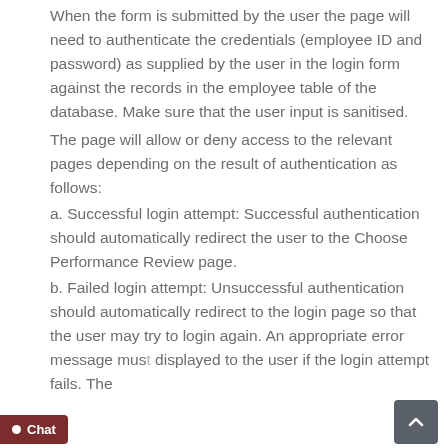When the form is submitted by the user the page will need to authenticate the credentials (employee ID and password) as supplied by the user in the login form against the records in the employee table of the database. Make sure that the user input is sanitised.
The page will allow or deny access to the relevant pages depending on the result of authentication as follows:
a. Successful login attempt: Successful authentication should automatically redirect the user to the Choose Performance Review page.
b. Failed login attempt: Unsuccessful authentication should automatically redirect to the login page so that the user may try to login again. An appropriate error message must be displayed to the user if the login attempt fails. The